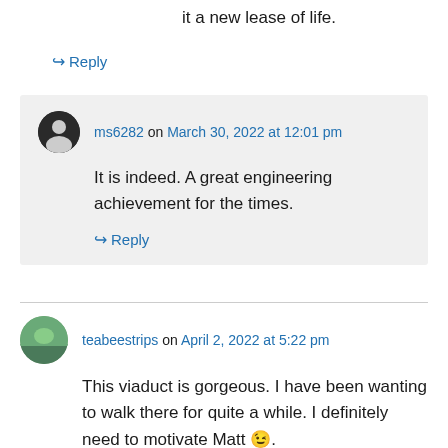it a new lease of life.
↪ Reply
ms6282 on March 30, 2022 at 12:01 pm
It is indeed. A great engineering achievement for the times.
↪ Reply
teabeestrips on April 2, 2022 at 5:22 pm
This viaduct is gorgeous. I have been wanting to walk there for quite a while. I definitely need to motivate Matt 😉.